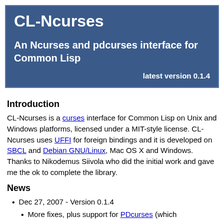CL-Ncurses
An Ncurses and pdcurses interface for Common Lisp
latest version 0.1.4
Introduction
CL-Ncurses is a curses interface for Common Lisp on Unix and Windows platforms, licensed under a MIT-style license. CL-Ncurses uses UFFI for foreign bindings and it is developed on SBCL and Debian GNU/Linux, Mac OS X and Windows. Thanks to Nikodemus Siivola who did the initial work and gave me the ok to complete the library.
News
Dec 27, 2007 - Version 0.1.4
More fixes, plus support for PDcurses (which